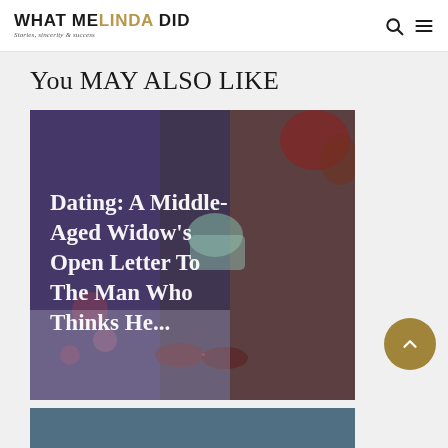WHAT MELINDA DID — Stories, sincerity & success
You may also like
[Figure (photo): A middle-aged woman in a floral robe holding a cup, seated in a wicker chair, with overlaid text reading 'Dating: A Middle-Aged Widow's Open Letter To The Man Who Thinks He...']